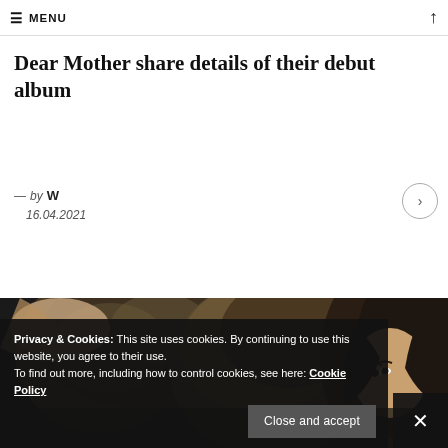≡ MENU
Dear Mother share details of their debut album
— by W
16.04.2021
[Figure (photo): Two women with long hair lying down, dark moody background]
Privacy & Cookies: This site uses cookies. By continuing to use this website, you agree to their use.
To find out more, including how to control cookies, see here: Cookie Policy
Close and accept